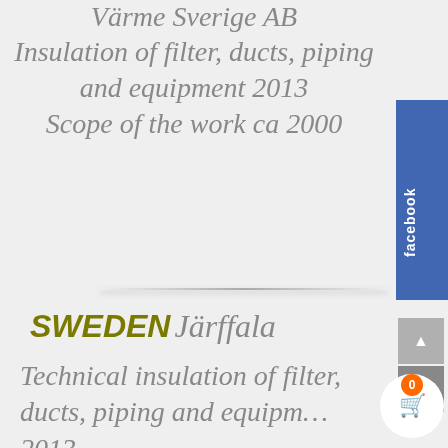Värme Sverige AB Insulation of filter, ducts, piping and equipment 2013 Scope of the work ca 2000
SWEDEN Järffala
Technical insulation of filter, ducts, piping and equipment 2013